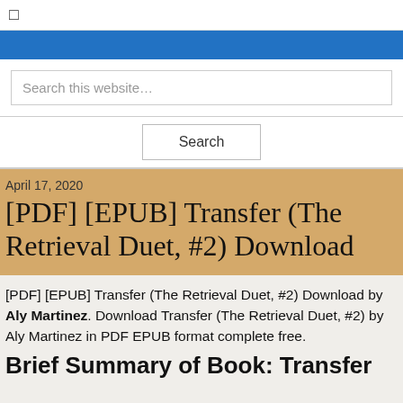□
Search this website…
Search
April 17, 2020
[PDF] [EPUB] Transfer (The Retrieval Duet, #2) Download
[PDF] [EPUB] Transfer (The Retrieval Duet, #2) Download by Aly Martinez. Download Transfer (The Retrieval Duet, #2) by Aly Martinez in PDF EPUB format complete free.
Brief Summary of Book: Transfer